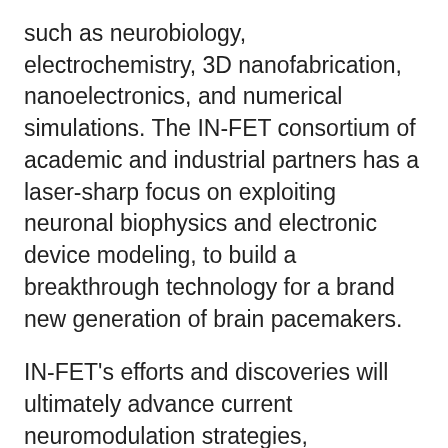such as neurobiology, electrochemistry, 3D nanofabrication, nanoelectronics, and numerical simulations. The IN-FET consortium of academic and industrial partners has a laser-sharp focus on exploiting neuronal biophysics and electronic device modeling, to build a breakthrough technology for a brand new generation of brain pacemakers.
IN-FET's efforts and discoveries will ultimately advance current neuromodulation strategies, specifically aiming at future brain implants for the treatment of brain disorders such as epilepsy. IN-FET will advance neuroscience, biomedical microsystems engineering, and nano-